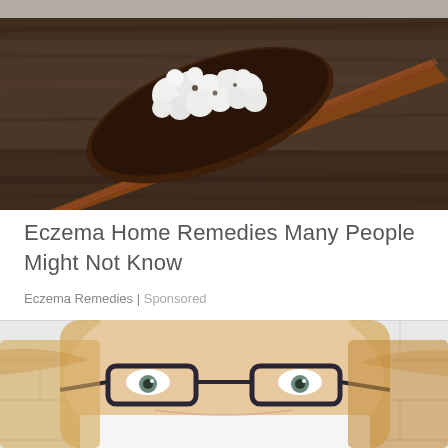[Figure (photo): A wooden spoon holding white crumbled or chunky substance (possibly cottage cheese or feta), placed on a dark rustic wood surface.]
Eczema Home Remedies Many People Might Not Know
Eczema Remedies | Sponsored
[Figure (photo): Close-up of a blonde woman wearing dark-rimmed glasses, smiling, with the lower part of her face partially hidden, against a white tiled background.]